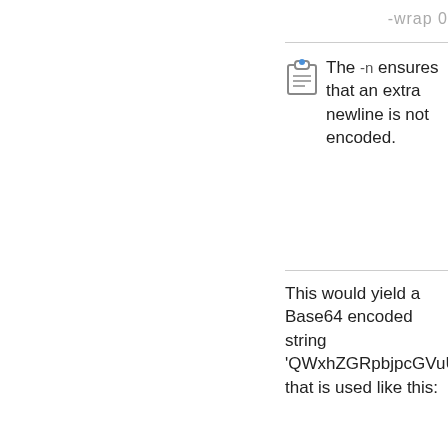-wrap 0
The -n ensures that an extra newline is not encoded.
This would yield a Base64 encoded string 'QWxhZGRpbjpcGVuU2VzYW1l' that is used like this: